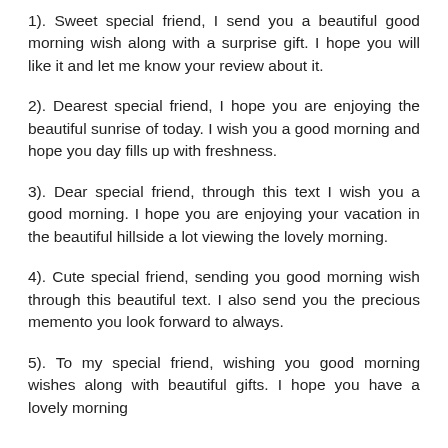1). Sweet special friend, I send you a beautiful good morning wish along with a surprise gift. I hope you will like it and let me know your review about it.
2). Dearest special friend, I hope you are enjoying the beautiful sunrise of today. I wish you a good morning and hope you day fills up with freshness.
3). Dear special friend, through this text I wish you a good morning. I hope you are enjoying your vacation in the beautiful hillside a lot viewing the lovely morning.
4). Cute special friend, sending you good morning wish through this beautiful text. I also send you the precious memento you look forward to always.
5). To my special friend, wishing you good morning wishes along with beautiful gifts. I hope you have a lovely morning